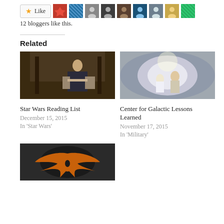[Figure (other): Like button with star icon and row of blogger avatar thumbnails]
12 bloggers like this.
Related
[Figure (photo): Han Solo character from Star Wars in a dimly lit interior scene]
[Figure (photo): Princess Leia and Luke Skywalker illustrated artwork from Star Wars]
Star Wars Reading List
December 15, 2015
In 'Star Wars'
Center for Galactic Lessons Learned
November 17, 2015
In 'Military'
[Figure (photo): Rebel Alliance logo - orange bird/phoenix symbol on dark background]